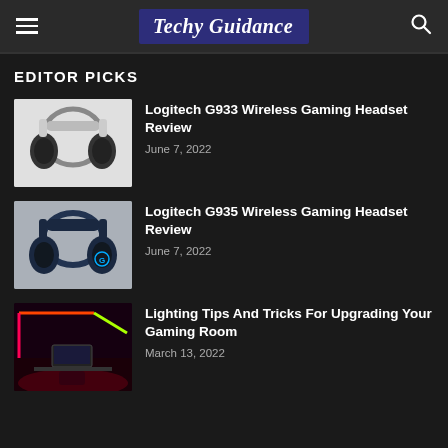Techy Guidance
EDITOR PICKS
[Figure (photo): Logitech G933 wireless gaming headset in white/silver color, viewed from the side]
Logitech G933 Wireless Gaming Headset Review
June 7, 2022
[Figure (photo): Logitech G935 wireless gaming headset in dark navy blue color with Logitech G logo]
Logitech G935 Wireless Gaming Headset Review
June 7, 2022
[Figure (photo): Gaming room setup with colorful RGB LED lighting strips on walls, red ambient lighting, gaming monitors and chairs]
Lighting Tips And Tricks For Upgrading Your Gaming Room
March 13, 2022